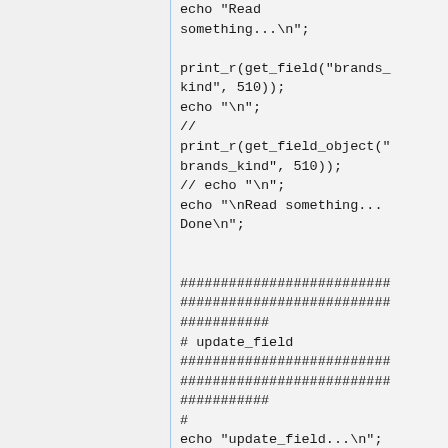echo "Read something...\n";

print_r(get_field("brands_kind", 510));
echo "\n";
//
print_r(get_field_object("brands_kind", 510));
// echo "\n";
echo "\nRead something...Done\n";


##########################
##########################
###########
# update_field
##########################
##########################
###########
#
echo "update_field...\n";

$retour =